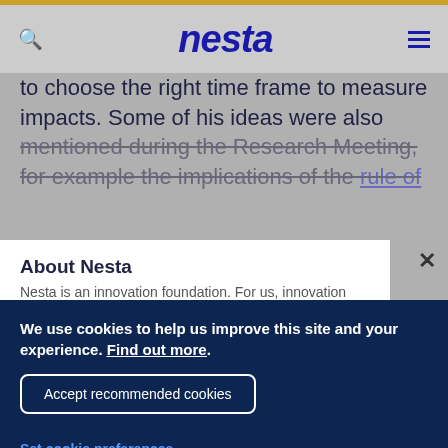nesta
to choose the right time frame to measure impacts. Some of his ideas were also mentioned during the Research Meeting, for example the implications of the rule of
About Nesta
Nesta is an innovation foundation. For us, innovation
We use cookies to help us improve this site and your experience. Find out more.
Accept recommended cookies
Set cookie preferences